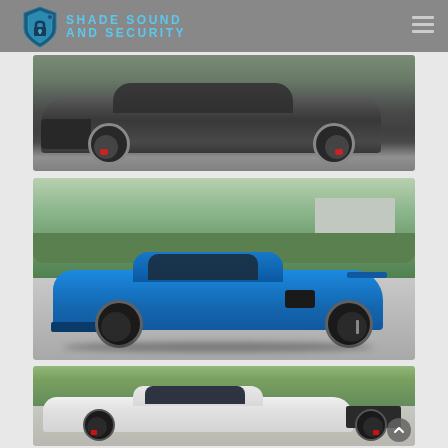[Figure (logo): Shade Sound and Security logo with blue shield icon and text]
[Figure (photo): Dark gray sports car (appears to be a Dodge Charger or similar) photographed from the side in a parking area]
[Figure (photo): Bright blue Corvette C8 sports car photographed from the side in a driveway with trees and hedges in background]
[Figure (photo): White Porsche 911 sports car photographed from the side in a driveway with trees in background]